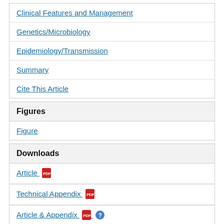Clinical Features and Management
Genetics/Microbiology
Epidemiology/Transmission
Summary
Cite This Article
Figures
Figure
Downloads
Article [PDF icon]
Technical Appendix [PDF icon]
Article & Appendix [PDF icon] [Help icon]